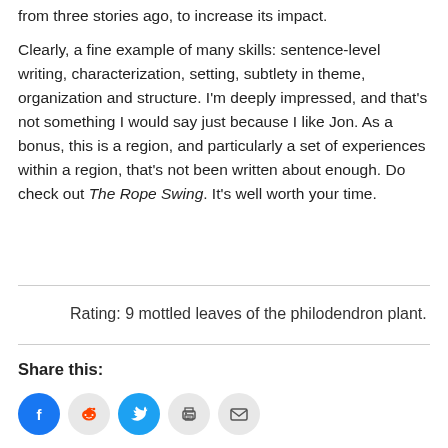from three stories ago, to increase its impact.
Clearly, a fine example of many skills: sentence-level writing, characterization, setting, subtlety in theme, organization and structure. I'm deeply impressed, and that's not something I would say just because I like Jon. As a bonus, this is a region, and particularly a set of experiences within a region, that's not been written about enough. Do check out The Rope Swing. It's well worth your time.
Rating: 9 mottled leaves of the philodendron plant.
Share this:
[Figure (infographic): Social sharing icons: Facebook (blue circle), Reddit (light grey circle), Twitter (cyan circle), Print (light grey circle), Email (light grey circle)]